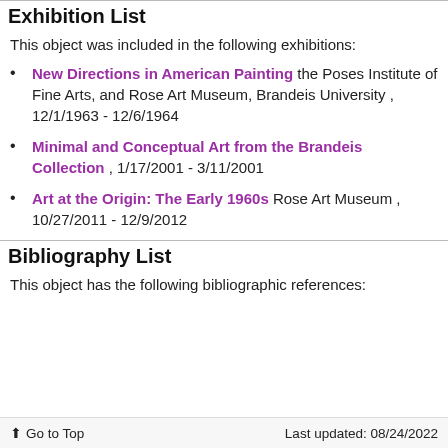Exhibition List
This object was included in the following exhibitions:
New Directions in American Painting the Poses Institute of Fine Arts, and Rose Art Museum, Brandeis University , 12/1/1963 - 12/6/1964
Minimal and Conceptual Art from the Brandeis Collection , 1/17/2001 - 3/11/2001
Art at the Origin: The Early 1960s Rose Art Museum , 10/27/2011 - 12/9/2012
Bibliography List
This object has the following bibliographic references:
⬆ Go to Top   Last updated: 08/24/2022